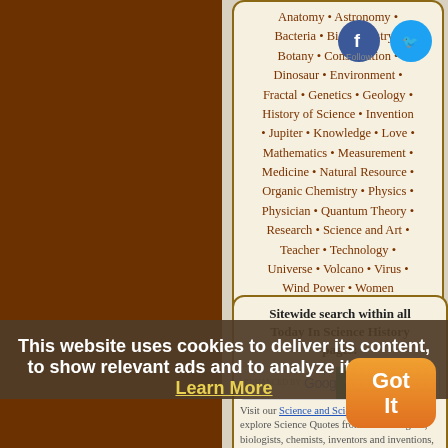Anatomy • Astronomy • Bacteria • Biochemistry • Botany • Conservation • Dinosaur • Environment • Fractal • Genetics • Geology • History of Science • Invention • Jupiter • Knowledge • Love • Mathematics • Measurement • Medicine • Natural Resource • Organic Chemistry • Physics • Physician • Quantum Theory • Research • Science and Art • Teacher • Technology • Universe • Volcano • Virus • Wind Power • Women Scientists • X-Rays • Youth • Zoology … (more topics)
Sitewide search within all Today In Science History pages:
Visit our Science and Scientists page to explore Science Quotes from archaeologists, biologists, chemists, inventors and inventions, mathematicians, physicists, pioneers in medicine, science events
This website uses cookies to deliver its content, to show relevant ads and to analyze its traffic. Learn More